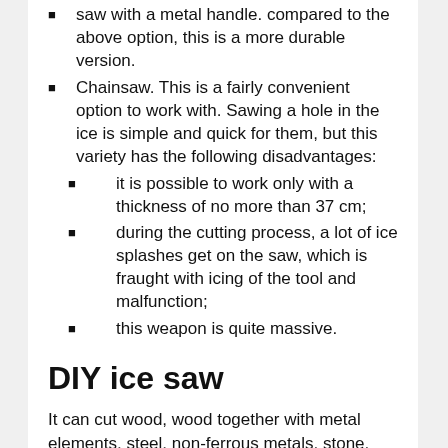saw with a metal handle. compared to the above option, this is a more durable version.
Chainsaw. This is a fairly convenient option to work with. Sawing a hole in the ice is simple and quick for them, but this variety has the following disadvantages:
it is possible to work only with a thickness of no more than 37 cm;
during the cutting process, a lot of ice splashes get on the saw, which is fraught with icing of the tool and malfunction;
this weapon is quite massive.
DIY ice saw
It can cut wood, wood together with metal elements, steel, non-ferrous metals, stone, plastic, foam blocks, composites, ceramics, glass. you just need to choose the right canvas. We have absolute omnivorousness.